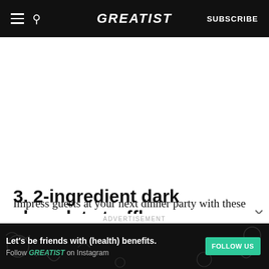GREATIST | SUBSCRIBE
3. 2-ingredient dark chocolate truffles
Impress guests at your next dinner party with these classy little balls of decadence. No one will know you only used two ingredients. This recipe
ADVERTISEMENT
Let's be friends with (health) benefits. Follow GREATIST on Instagram | FOLLOW US